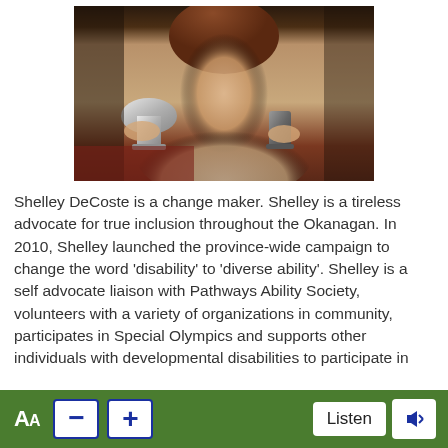[Figure (photo): A woman holding two trophies/awards, wearing a light beige/cream colored top, photographed indoors at what appears to be an awards event.]
Shelley DeCoste is a change maker. Shelley is a tireless advocate for true inclusion throughout the Okanagan. In 2010, Shelley launched the province-wide campaign to change the word ‘disability’ to ‘diverse ability’. Shelley is a self advocate liaison with Pathways Ability Society, volunteers with a variety of organizations in community, participates in Special Olympics and supports other individuals with developmental disabilities to participate in
Aa   -   +   Listen